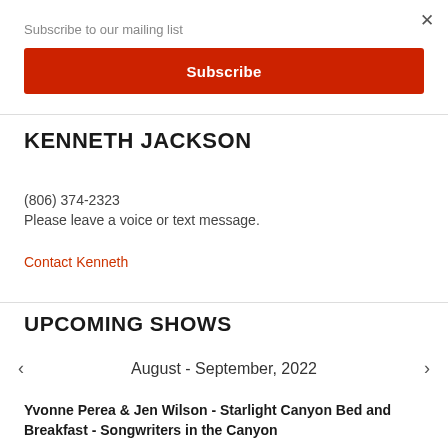Subscribe to our mailing list
Subscribe
KENNETH JACKSON
(806) 374-2323
Please leave a voice or text message.
Contact Kenneth
UPCOMING SHOWS
August - September, 2022
Yvonne Perea & Jen Wilson - Starlight Canyon Bed and Breakfast - Songwriters in the Canyon